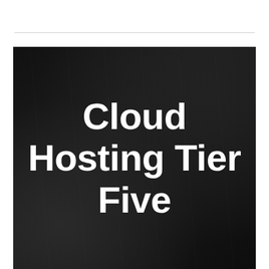[Figure (photo): Dark server room / data center background image with large white bold text overlay reading 'Cloud Hosting Tier Five']